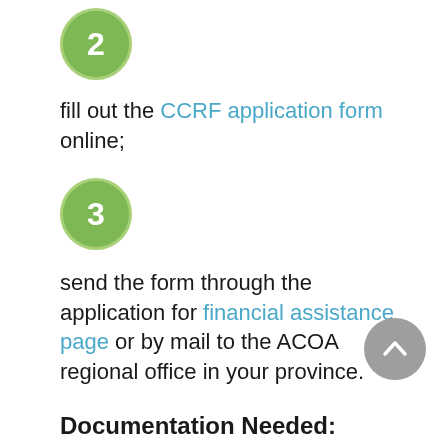[Figure (infographic): Green circle with white number 2 inside, representing step 2]
fill out the CCRF application form online;
[Figure (infographic): Green circle with white number 3 inside, representing step 3]
send the form through the application for financial assistance page or by mail to the ACOA regional office in your province.
Documentation Needed: